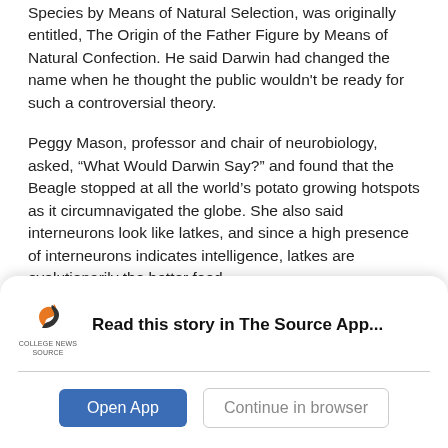Species by Means of Natural Selection, was originally entitled, The Origin of the Father Figure by Means of Natural Confection. He said Darwin had changed the name when he thought the public wouldn't be ready for such a controversial theory.
Peggy Mason, professor and chair of neurobiology, asked, “What Would Darwin Say?” and found that the Beagle stopped at all the world’s potato growing hotspots as it circumnavigated the globe. She also said interneurons look like latkes, and since a high presence of interneurons indicates intelligence, latkes are evolutionarily the better food.
[Figure (logo): College News Source logo with stylized S icon]
Read this story in The Source App...
Open App
Continue in browser